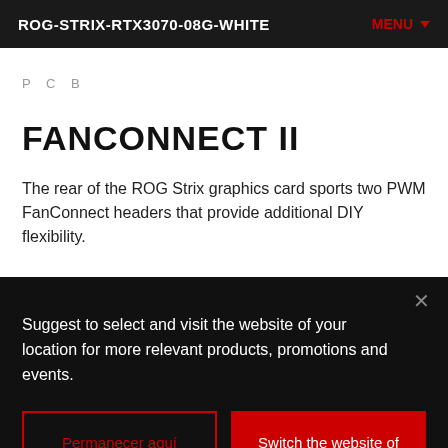ROG-STRIX-RTX3070-08G-WHITE
PCB
FANCONNECT II
The rear of the ROG Strix graphics card sports two PWM FanConnect headers that provide additional DIY flexibility.
Suggest to select and visit the website of your location for more relevant products, promotions and events.
Permanecer aquí
Switch the website of your location